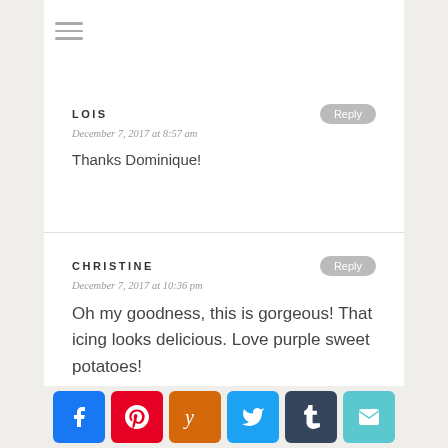☰ (hamburger menu icon)
LOIS
December 7, 2017 at 8:57 am
Thanks Dominique!
CHRISTINE
December 7, 2017 at 10:36 pm
Oh my goodness, this is gorgeous! That icing looks delicious. Love purple sweet potatoes!
[Figure (other): Social sharing buttons: Facebook, Pinterest, Yummly, Twitter, Tumblr, Email]